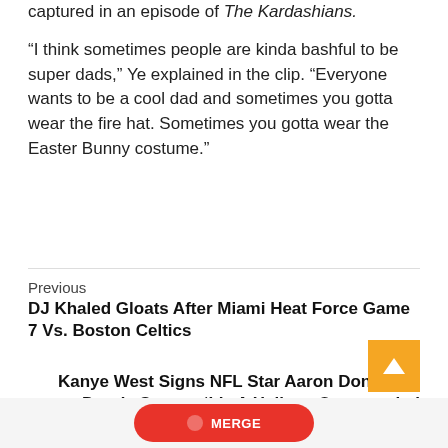captured in an episode of The Kardashians.
“I think sometimes people are kinda bashful to be super dads,” Ye explained in the clip. “Everyone wants to be a cool dad and sometimes you gotta wear the fire hat. Sometimes you gotta wear the Easter Bunny costume.”
Previous
DJ Khaled Gloats After Miami Heat Force Game 7 Vs. Boston Celtics
Next
Kanye West Signs NFL Star Aaron Donald To Donda Sports: ‘It’s A Helluva Opportunity’